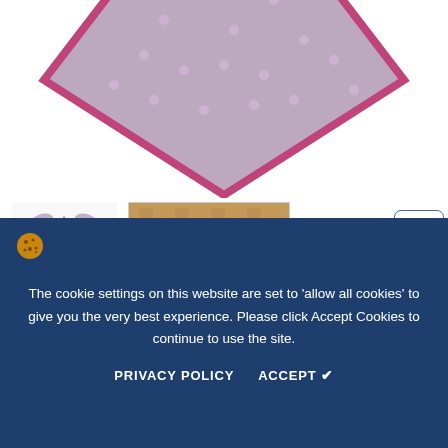[Figure (photo): Main product image: purple polka-dot bandana displayed on white background, shown as a diamond/rotated square shape with pink border and small dots pattern, with a tag visible at top]
[Figure (photo): Thumbnail 1: Purple bandana folded into triangle shape on white background]
[Figure (photo): Thumbnail 2: Two dogs (border collie and australian shepherd) sitting together wearing purple bandanas, wooden fence in background]
Have Questions? Ask An Expert
Purple Polka-dot Bandana
$24.00
We love a good polka-dot print and we love a good shade of
The cookie settings on this website are set to 'allow all cookies' to give you the very best experience. Please click Accept Cookies to continue to use the site.
PRIVACY POLICY
ACCEPT ✓